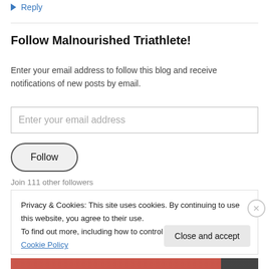↪ Reply
Follow Malnourished Triathlete!
Enter your email address to follow this blog and receive notifications of new posts by email.
Enter your email address
Follow
Join 111 other followers
Privacy & Cookies: This site uses cookies. By continuing to use this website, you agree to their use.
To find out more, including how to control cookies, see here: Cookie Policy
Close and accept